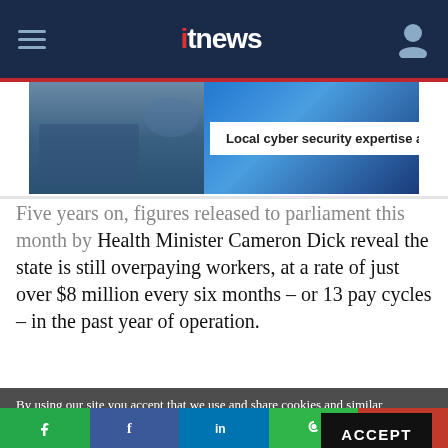itnews
[Figure (screenshot): Telstra advertisement banner: Local cyber security expertise and]
Five years on, figures released to parliament this month by Health Minister Cameron Dick reveal the state is still overpaying workers, at a rate of just over $8 million every six months – or 13 pay cycles – in the past year of operation.
By using our site you accept that we use and share cookies and similar technologies to perform analytics and provide content and ads tailored to your interests. By continuing to use our site, you consent to this. Please see our Cookie Policy for more information.